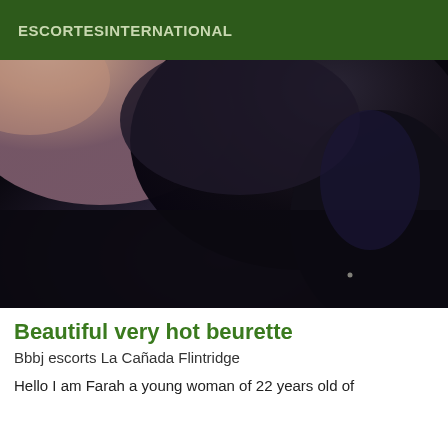ESCORTESINTERNATIONAL
[Figure (photo): A dark, blurry close-up photograph showing a person's hair and skin, predominantly dark tones with muted purplish-blue and beige areas.]
Beautiful very hot beurette
Bbbj escorts La Cañada Flintridge
Hello I am Farah a young woman of 22 years old of